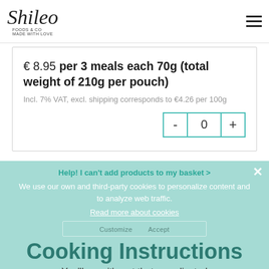Shileo logo and navigation menu
€ 8.95 per 3 meals each 70g (total weight of 210g per pouch)
Incl. 7% VAT, excl. shipping corresponds to €4.26 per 100g
Help! I can't add products to my basket >
We use our own and third-party cookies to personalize content and to analyze web traffic.
Read more about cookies
Cooking Instructions
You'll see, it's not that complicated
Decline